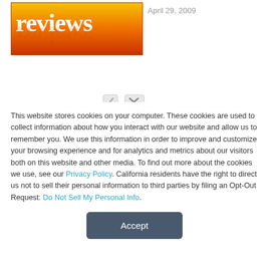[Figure (logo): Reviews logo — orange/red gradient background with white 'reviews' text and mirrored reflection below]
April 29, 2009
This website stores cookies on your computer. These cookies are used to collect information about how you interact with our website and allow us to remember you. We use this information in order to improve and customize your browsing experience and for analytics and metrics about our visitors both on this website and other media. To find out more about the cookies we use, see our Privacy Policy. California residents have the right to direct us not to sell their personal information to third parties by filing an Opt-Out Request: Do Not Sell My Personal Info.
Accept